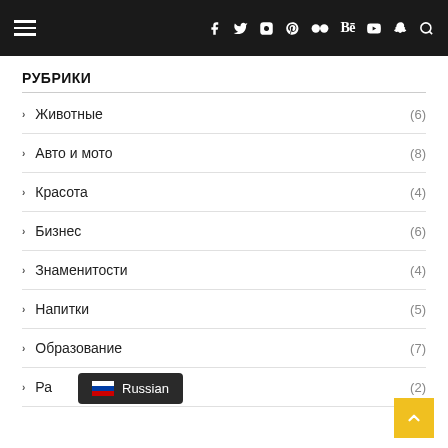Navigation header with hamburger menu and social icons: f, twitter, instagram, pinterest, flickr, Be, youtube, snapchat, search
РУБРИКИ
Животные (6)
Авто и мото (8)
Красота (4)
Бизнес (6)
Знаменитости (4)
Напитки (5)
Образование (7)
Ра... (2)
Russian (language badge with Russian flag)